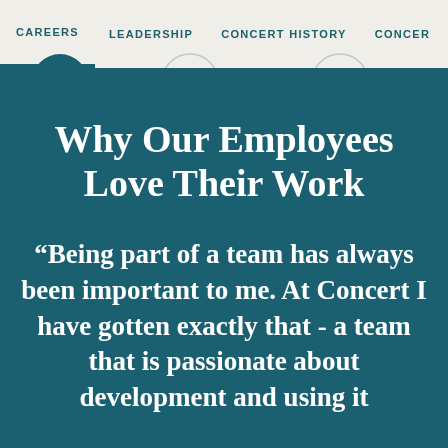CAREERS   LEADERSHIP   CONCERT HISTORY   CONCER
Why Our Employees Love Their Work
“Being part of a team has always been important to me. At Concert I have gotten exactly that - a team that is passionate about development and using it